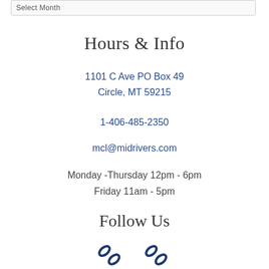Select Month
Hours & Info
1101 C Ave PO Box 49
Circle, MT 59215
1-406-485-2350
mcl@midrivers.com
Monday -Thursday 12pm - 6pm
Friday 11am - 5pm
Follow Us
[Figure (illustration): Two chain link / social media icons in dark blue]